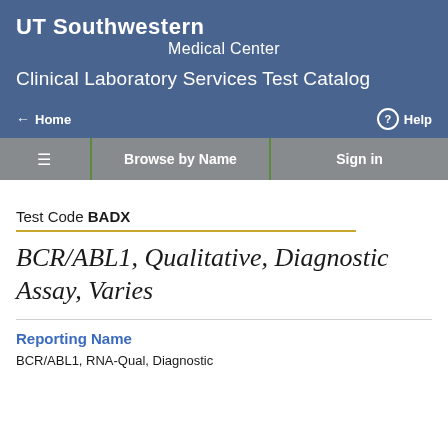[Figure (logo): UT Southwestern Medical Center logo/wordmark in white text on blue background]
Clinical Laboratory Services Test Catalog
Home   Help
Browse by Name   Sign in
Test Code BADX
BCR/ABL1, Qualitative, Diagnostic Assay, Varies
Reporting Name
BCR/ABL1, RNA-Qual, Diagnostic